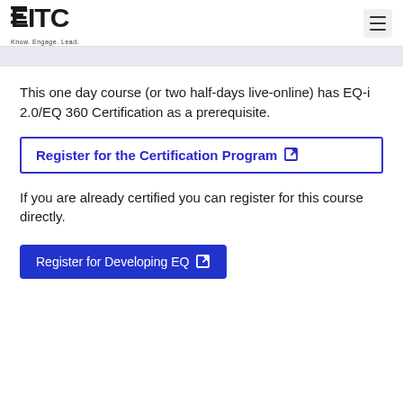EITC Know. Engage. Lead.
This one day course (or two half-days live-online) has EQ-i 2.0/EQ 360 Certification as a prerequisite.
Register for the Certification Program
If you are already certified you can register for this course directly.
Register for Developing EQ